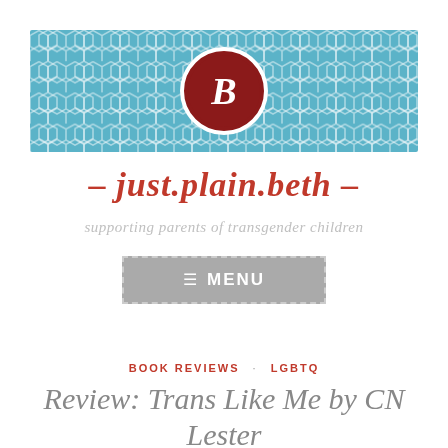[Figure (logo): Blog banner with blue honeycomb pattern background and a dark red circle containing an italic white letter B in the center]
– just.plain.beth –
supporting parents of transgender children
[Figure (other): Gray rectangular menu button with dashed border showing hamburger icon and MENU text in white]
BOOK REVIEWS · LGBTQ
Review: Trans Like Me by CN Lester